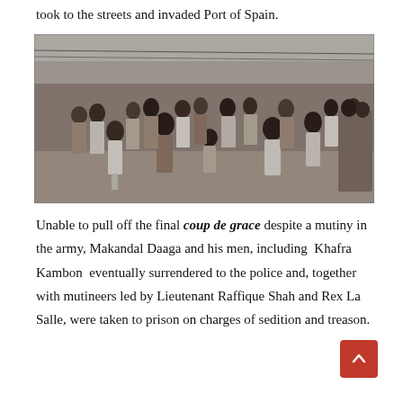took to the streets and invaded Port of Spain.
[Figure (photo): Black and white photograph showing a large crowd of people marching or walking along a street in Port of Spain, Trinidad. Many people are visible, some in white shirts, filling the street and sidewalks.]
Unable to pull off the final coup de grace despite a mutiny in the army, Makandal Daaga and his men, including Khafra Kambon eventually surrendered to the police and, together with mutineers led by Lieutenant Raffique Shah and Rex La Salle, were taken to prison on charges of sedition and treason.